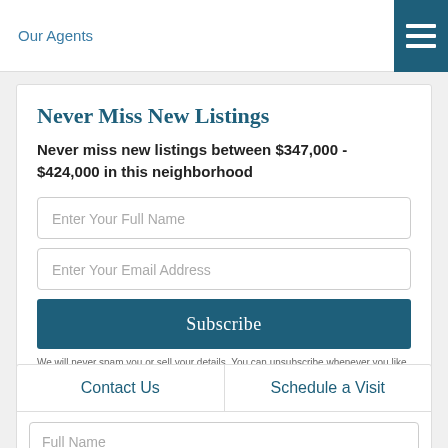Our Agents
Never Miss New Listings
Never miss new listings between $347,000 - $424,000 in this neighborhood
Enter Your Full Name
Enter Your Email Address
Subscribe
We will never spam you or sell your details. You can unsubscribe whenever you like.
Contact Us
Schedule a Visit
Full Name